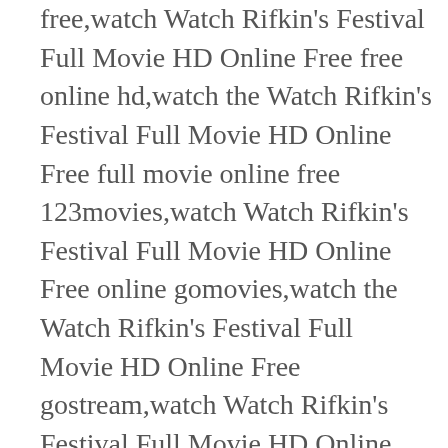free,watch Watch Rifkin's Festival Full Movie HD Online Free free online hd,watch the Watch Rifkin's Festival Full Movie HD Online Free full movie online free 123movies,watch Watch Rifkin's Festival Full Movie HD Online Free online gomovies,watch the Watch Rifkin's Festival Full Movie HD Online Free gostream,watch Watch Rifkin's Festival Full Movie HD Online Free online free gomovies,the Watch Rifkin's Festival Full Movie HD Online Free full movie watch online gomovies,watch Watch Rifkin's Festival Full Movie HD Online Free hd,watch Watch Rifkin's Festival Full Movie HD Online Free hd online,watch Watch Rifkin's Festival Full Movie HD Online Free hindi online,how to watch Watch Rifkin's Festival Full Movie HD Online Free,how to watch Watch Rifkin's Festival Full Movie HD Online Free